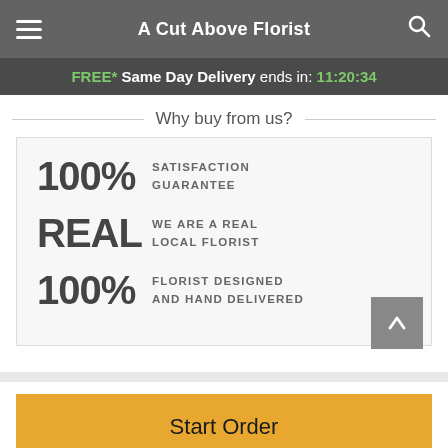A Cut Above Florist
FREE* Same Day Delivery ends in: 11:20:34
Why buy from us?
100% SATISFACTION GUARANTEE
REAL WE ARE A REAL LOCAL FLORIST
100% FLORIST DESIGNED AND HAND DELIVERED
Start Order